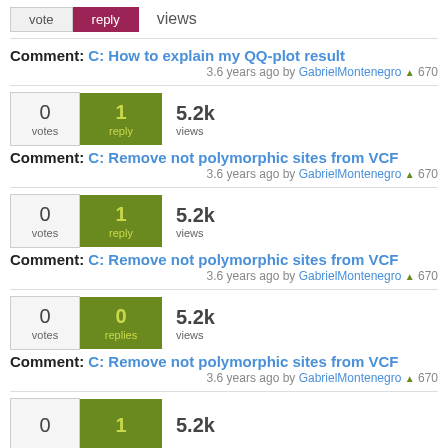vote | reply | views
Comment: C: How to explain my QQ-plot result
3.6 years ago by GabrielMontenegro ▲ 670
0 votes | 1 reply | 5.2k views
Comment: C: Remove not polymorphic sites from VCF
3.6 years ago by GabrielMontenegro ▲ 670
0 votes | 1 reply | 5.2k views
Comment: C: Remove not polymorphic sites from VCF
3.6 years ago by GabrielMontenegro ▲ 670
0 votes | 0 replies | 5.2k views
Comment: C: Remove not polymorphic sites from VCF
3.6 years ago by GabrielMontenegro ▲ 670
0 votes | 1 reply | 5.2k views (partial)